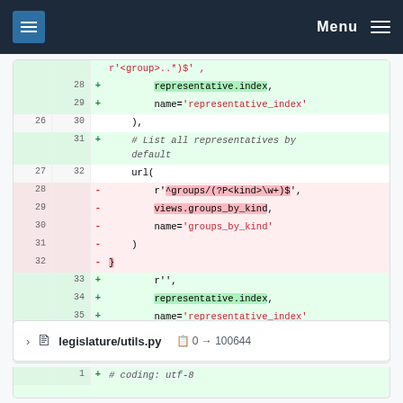Menu
[Figure (screenshot): Git diff view showing code changes to URL routing, with added lines (green) and removed lines (red). Lines 28-37 shown on new side, lines 26-32 on old side.]
legislature/utils.py  0 → 100644
[Figure (screenshot): Partial diff for legislature/utils.py showing beginning of added lines with # coding: utf-8]